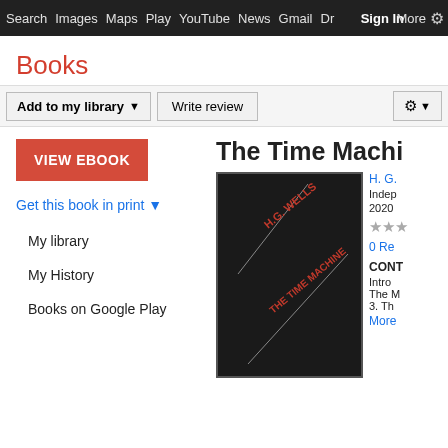Search  Images  Maps  Play  YouTube  News  Gmail  Dr  Sign In  More  ⚙
Books
Add to my library ▼    Write review    ⚙ ▼
VIEW EBOOK
Get this book in print ▼
My library
My History
Books on Google Play
The Time Machi
[Figure (photo): Book cover for 'The Time Machine' by H.G. Wells — dark background with diagonal white lines and red text showing author name and title]
H. G.
Indep 2020
★★★
0 Re
CONT
Intro
The M
3. Th
More
What people